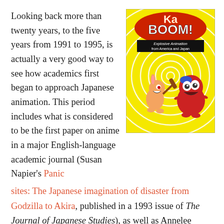Looking back more than twenty years, to the five years from 1991 to 1995, is actually a very good way to see how academics first began to approach Japanese animation. This period includes what is considered to be the first paper on anime in a major English-language academic journal (Susan Napier's Panic sites: The Japanese imagination of disaster from Godzilla to Akira, published in a 1993 issue of The Journal of Japanese Studies), as well as Annelee Newitz's Anime otaku: Japanese animation fans outside Japan (in Bad Subjects: Political Education for Everyday Life). Because
[Figure (illustration): Book cover of 'KaBoom! Explosive Animation from America and Japan' featuring cartoon characters on a yellow spiral background]